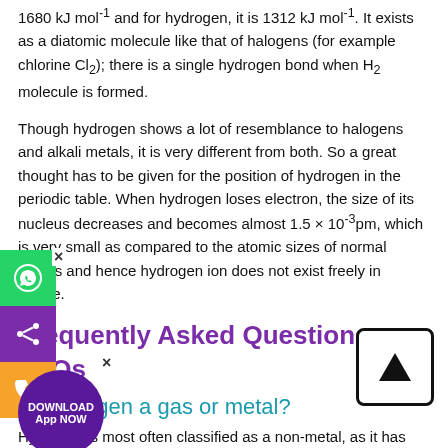1680 kJ mol⁻¹ and for hydrogen, it is 1312 kJ mol⁻¹. It exists as a diatomic molecule like that of halogens (for example chlorine Cl₂); there is a single hydrogen bond when H₂ molecule is formed.
Though hydrogen shows a lot of resemblance to halogens and alkali metals, it is very different from both. So a great thought has to be given for the position of hydrogen in the periodic table. When hydrogen loses electron, the size of its nucleus decreases and becomes almost 1.5 × 10⁻³pm, which is very small as compared to the atomic sizes of normal metals and hence hydrogen ion does not exist freely in nature.
Frequently Asked Questions – FAQs
Is hydrogen a gas or metal?
Hydrogen is most often classified as a non-metal, as it has most of the non-metal properties. This is a gas at room temperature, for example. However, in group 1, hydrogen shares properties with the alkaline metals. Hydrogen conducts electricity in liquid form just like a metal does.